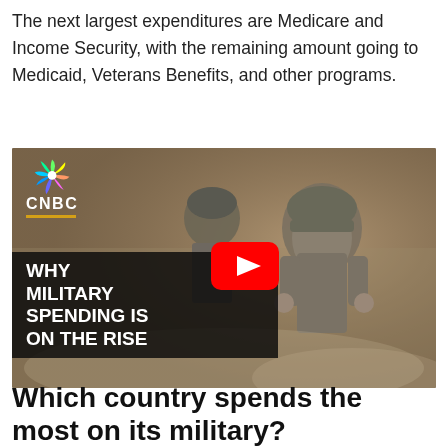The next largest expenditures are Medicare and Income Security, with the remaining amount going to Medicaid, Veterans Benefits, and other programs.
[Figure (screenshot): CNBC YouTube video thumbnail showing soldiers in combat gear with text overlay reading 'WHY MILITARY SPENDING IS ON THE RISE']
Which country spends the most on its military?